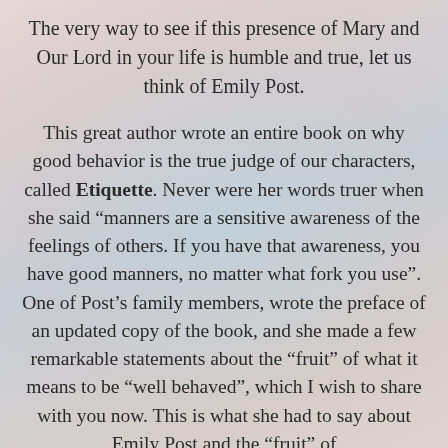The very way to see if this presence of Mary and Our Lord in your life is humble and true, let us think of Emily Post.
This great author wrote an entire book on why good behavior is the true judge of our characters, called Etiquette. Never were her words truer when she said “manners are a sensitive awareness of the feelings of others. If you have that awareness, you have good manners, no matter what fork you use”. One of Post’s family members, wrote the preface of an updated copy of the book, and she made a few remarkable statements about the “fruit” of what it means to be “well behaved”, which I wish to share with you now. This is what she had to say about Emily Post and the “fruit” of that “awareness”.